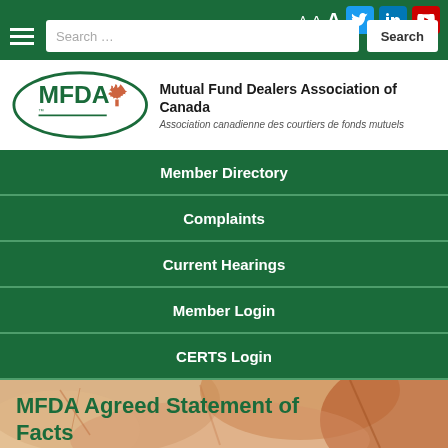A A A [Twitter] [LinkedIn] [YouTube] | [Menu] | Search ... | Search
[Figure (logo): MFDA logo with maple leaf and text: Mutual Fund Dealers Association of Canada / Association canadienne des courtiers de fonds mutuels]
Member Directory
Complaints
Current Hearings
Member Login
CERTS Login
MFDA Agreed Statement of Facts